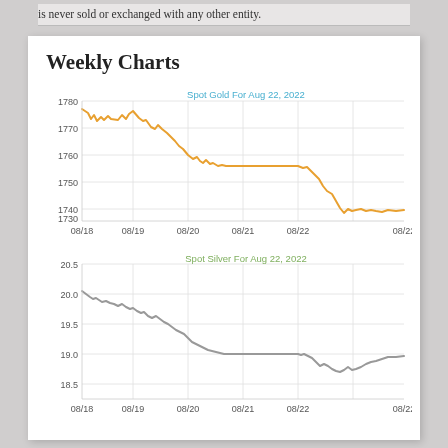is never sold or exchanged with any other entity.
Weekly Charts
[Figure (continuous-plot): Line chart showing spot gold price for the week of Aug 18-22, 2022. Price starts around 1775, drops to ~1745 area, holds flat around 1747, then drops sharply to about 1730 before recovering slightly to ~1735.]
[Figure (continuous-plot): Line chart showing spot silver price for the week of Aug 18-22, 2022. Price starts around 20.1, declines steadily to ~19.1, holds flat around 19.0, then dips slightly to ~18.9 before recovering to ~19.0.]